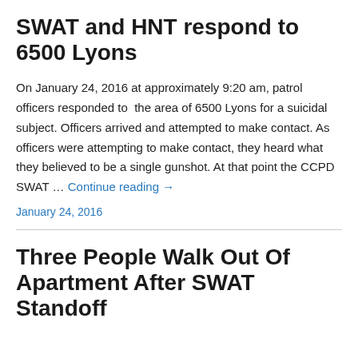SWAT and HNT respond to 6500 Lyons
On January 24, 2016 at approximately 9:20 am, patrol officers responded to  the area of 6500 Lyons for a suicidal subject. Officers arrived and attempted to make contact. As officers were attempting to make contact, they heard what they believed to be a single gunshot. At that point the CCPD SWAT … Continue reading →
January 24, 2016
Three People Walk Out Of Apartment After SWAT Standoff